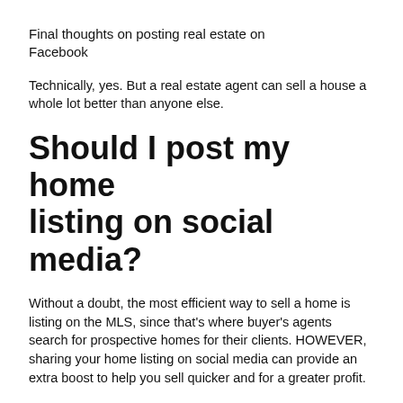Final thoughts on posting real estate on Facebook
Technically, yes. But a real estate agent can sell a house a whole lot better than anyone else.
Should I post my home listing on social media?
Without a doubt, the most efficient way to sell a home is listing on the MLS, since that’s where buyer’s agents search for prospective homes for their clients. HOWEVER, sharing your home listing on social media can provide an extra boost to help you sell quicker and for a greater profit.